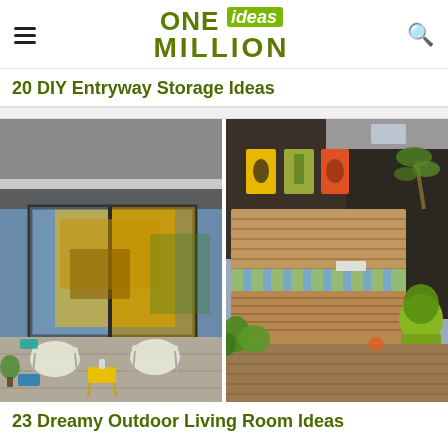ONE ideas MILLION
20 DIY Entryway Storage Ideas
[Figure (photo): Two outdoor/patio photo thumbnails side by side: left shows a modern house patio with sliding glass doors, white wicker chairs, and yellow accents; right shows a rooftop deck with a wooden storage bench with blue striped cushion and green planters.]
23 Dreamy Outdoor Living Room Ideas